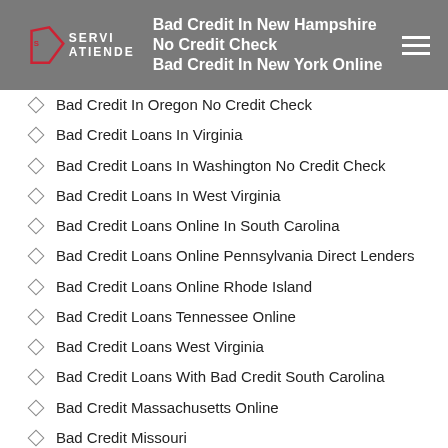Bad Credit In New Hampshire No Credit Check | Bad Credit In New York Online
Bad Credit In Oregon No Credit Check
Bad Credit Loans In Virginia
Bad Credit Loans In Washington No Credit Check
Bad Credit Loans In West Virginia
Bad Credit Loans Online In South Carolina
Bad Credit Loans Online Pennsylvania Direct Lenders
Bad Credit Loans Online Rhode Island
Bad Credit Loans Tennessee Online
Bad Credit Loans West Virginia
Bad Credit Loans With Bad Credit South Carolina
Bad Credit Massachusetts Online
Bad Credit Missouri
Bad Credit Mn
Bad Credit Montana
Bad Credit New Mexico Online
Bad Credit New York Online